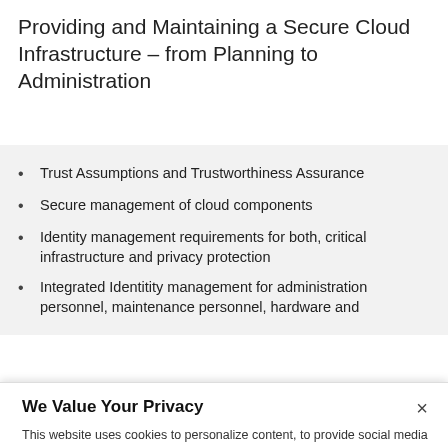Providing and Maintaining a Secure Cloud Infrastructure – from Planning to Administration
Trust Assumptions and Trustworthiness Assurance
Secure management of cloud components
Identity management requirements for both, critical infrastructure and privacy protection
Integrated Identitity management for administration personnel, maintenance personnel, hardware and
We Value Your Privacy
This website uses cookies to personalize content, to provide social media features, and to analyze traffic. By continuing to use this site, or closing this box, you consent to our use of cookies. If you want to change your settings and for more information, visit our Privacy Policy